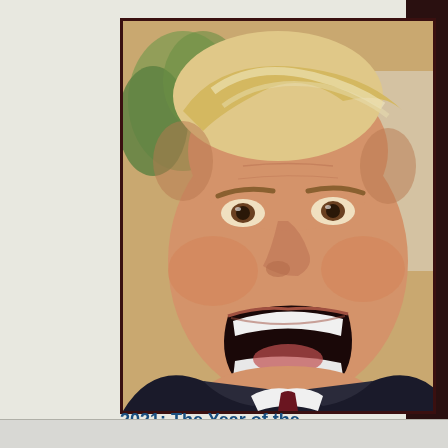[Figure (photo): A man with blond/white hair, mouth open wide as if shouting, wearing a dark suit with a dark tie, photographed in an interior setting with decorative background elements.]
2021: The Year of the
Search MohammadMo